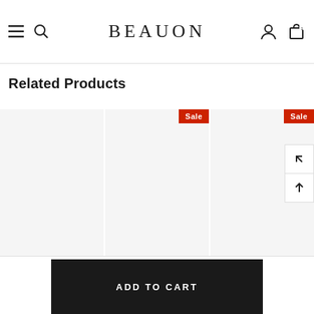BEAUJON — navigation bar with hamburger menu, search, brand logo, user account, and cart icons
Related Products
[Figure (screenshot): E-commerce product card 1 — empty product thumbnail area]
[Figure (screenshot): E-commerce product card 2 with Sale badge — empty product thumbnail area]
[Figure (screenshot): E-commerce product card 3 with Sale badge — empty product thumbnail area with back/up navigation buttons]
ADD TO CART